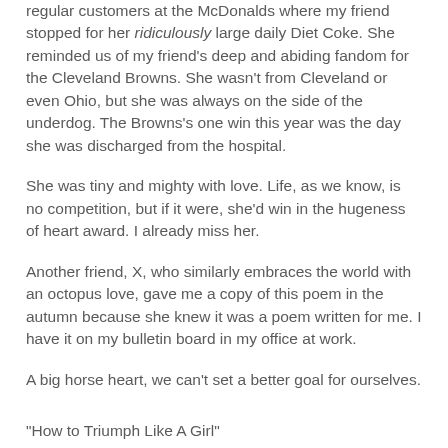regular customers at the McDonalds where my friend stopped for her ridiculously large daily Diet Coke. She reminded us of my friend's deep and abiding fandom for the Cleveland Browns. She wasn't from Cleveland or even Ohio, but she was always on the side of the underdog. The Browns's one win this year was the day she was discharged from the hospital.
She was tiny and mighty with love. Life, as we know, is no competition, but if it were, she'd win in the hugeness of heart award. I already miss her.
Another friend, X, who similarly embraces the world with an octopus love, gave me a copy of this poem in the autumn because she knew it was a poem written for me. I have it on my bulletin board in my office at work.
A big horse heart, we can't set a better goal for ourselves.
"How to Triumph Like A Girl"
Ada Limon